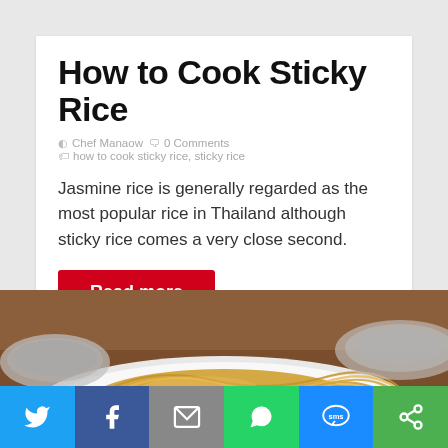How to Cook Sticky Rice
Chef Manaow   0 Comments   how to cook sticky rice, sticky rice
Jasmine rice is generally regarded as the most popular rice in Thailand although sticky rice comes a very close second.
Read more
[Figure (photo): Photo of noodles on a white plate with bowls in background]
[Figure (infographic): Social sharing bar with Twitter, Facebook, Email, WhatsApp, SMS, and other icons]